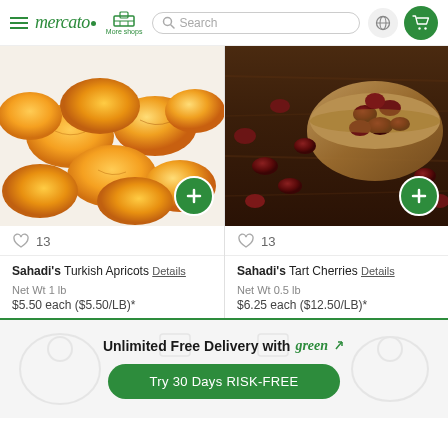mercato | More shops | Search | globe icon | cart icon
[Figure (photo): Dried Turkish apricots piled on white background]
13
Sahadi's  Turkish Apricots  Details
Net Wt 1 lb
$5.50 each ($5.50/LB)*
[Figure (photo): Dried tart cherries in a wooden bowl on dark wood surface]
13
Sahadi's  Tart Cherries  Details
Net Wt 0.5 lb
$6.25 each ($12.50/LB)*
Unlimited Free Delivery with green
Try 30 Days RISK-FREE